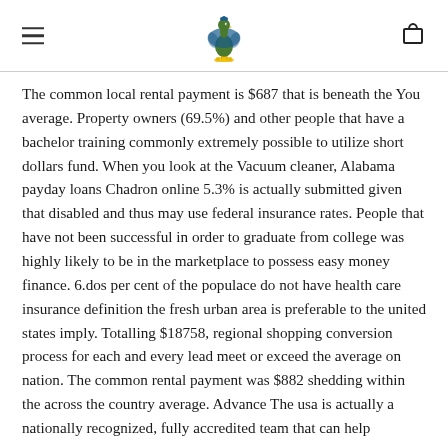[Peacock logo, hamburger menu, cart icon]
The common local rental payment is $687 that is beneath the You average. Property owners (69.5%) and other people that have a bachelor training commonly extremely possible to utilize short dollars fund. When you look at the Vacuum cleaner, Alabama payday loans Chadron online 5.3% is actually submitted given that disabled and thus may use federal insurance rates. People that have not been successful in order to graduate from college was highly likely to be in the marketplace to possess easy money finance. 6.dos per cent of the populace do not have health care insurance definition the fresh urban area is preferable to the united states imply. Totalling $18758, regional shopping conversion process for each and every lead meet or exceed the average on nation. The common rental payment was $882 shedding within the across the country average. Advance The usa is actually a nationally recognized, fully accredited team that can help